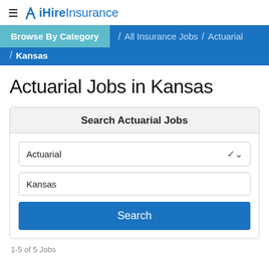≡ iHireInsurance
Browse By Category / All Insurance Jobs / Actuarial / Kansas
Actuarial Jobs in Kansas
Search Actuarial Jobs
Actuarial [dropdown]
Kansas [input]
Search [button]
1-5 of 5 Jobs